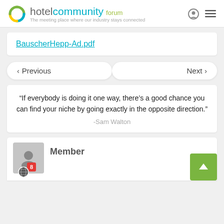hotel community forum — The meeting place where our industry stays connected
BauscherHepp-Ad.pdf
< Previous
Next >
“If everybody is doing it one way, there’s a good chance you can find your niche by going exactly in the opposite direction.” -Sam Walton
Member